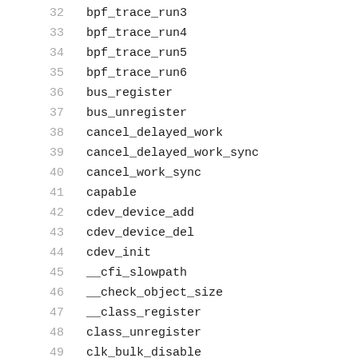32    bpf_trace_run3
33    bpf_trace_run4
34    bpf_trace_run5
35    bpf_trace_run6
36    bus_register
37    bus_unregister
38    cancel_delayed_work
39    cancel_delayed_work_sync
40    cancel_work_sync
41    capable
42    cdev_device_add
43    cdev_device_del
44    cdev_init
45    __cfi_slowpath
46    __check_object_size
47    __class_register
48    class_unregister
49    clk_bulk_disable
50    clk_bulk_enable
51    clk_bulk_prepare
52    clk_bulk_unprepare